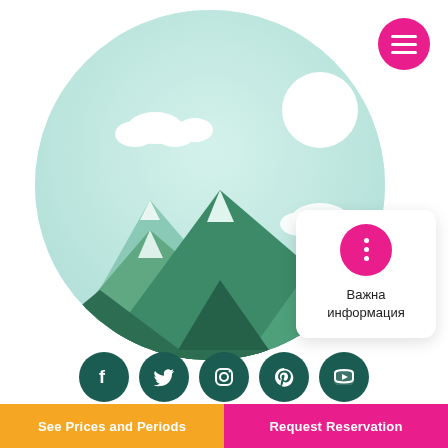[Figure (illustration): Flat design illustration of mountains with snow-capped peaks, clouds, and sun inside a circular frame with mint/teal green background gradient. Multiple shades of green for the mountain layers.]
[Figure (other): Pink circular hamburger menu button (three white horizontal lines) in the top-right corner.]
[Figure (other): White rounded popup card with a pink circle icon showing three vertical dots, and Cyrillic text reading 'Важна информация' (Important information).]
[Figure (other): Row of five dark teal circular social media icons: Facebook, Twitter, Instagram, Pinterest, YouTube.]
See Prices and Periods
Request Reservation